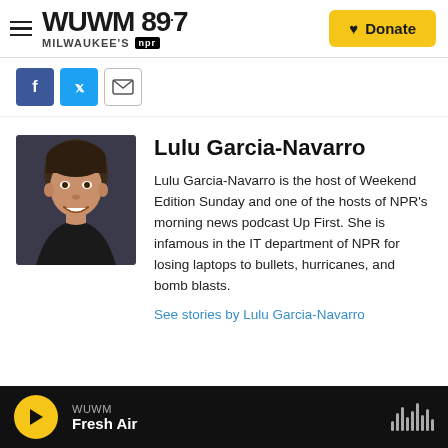WUWM 89.7 Milwaukee's NPR — Donate
[Figure (logo): WUWM 89.7 Milwaukee's NPR logo with hamburger menu icon]
[Figure (other): Social sharing icons: Facebook, Twitter, Email]
[Figure (photo): Headshot of Lulu Garcia-Navarro, smiling woman with dark hair pulled back, wearing dark clothing, against dark background]
Lulu Garcia-Navarro
Lulu Garcia-Navarro is the host of Weekend Edition Sunday and one of the hosts of NPR's morning news podcast Up First. She is infamous in the IT department of NPR for losing laptops to bullets, hurricanes, and bomb blasts.
See stories by Lulu Garcia-Navarro
WUWM — Fresh Air (audio player bar)